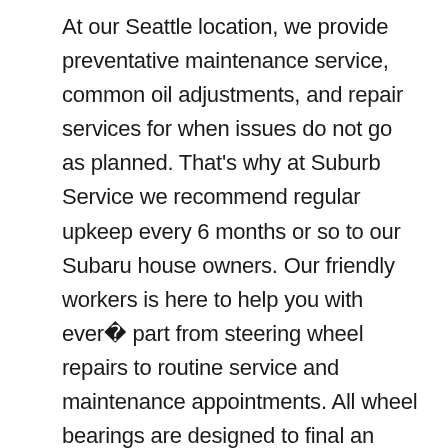At our Seattle location, we provide preventative maintenance service, common oil adjustments, and repair services for when issues do not go as planned. That's why at Suburb Service we recommend regular upkeep every 6 months or so to our Subaru house owners. Our friendly workers is here to help you with every part from steering wheel repairs to routine service and maintenance appointments. All wheel bearings are designed to final an extended period of time but finally they are going to lose their lubrication and require service. This way your 3 Series will get the high quality service it requires carried out in keeping with its' schedule by trained and skilled professionals that perceive your car's wants. Suspension – Excessively worn suspension elements will cause impact the way in which wherein the tire contacts the street. If these procedures don't sound fun to you, the perfect